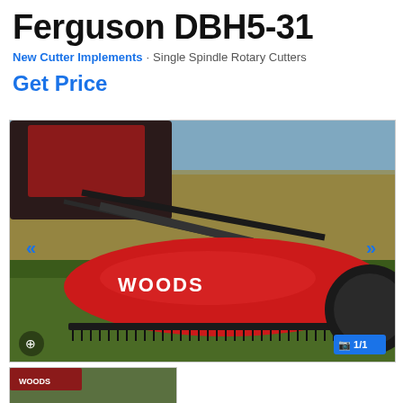Ferguson DBH5-31
New Cutter Implements · Single Spindle Rotary Cutters
Get Price
[Figure (photo): Red Woods brand single spindle rotary cutter attached to a tractor, shown cutting tall grass and brush in a field. The red cutter deck has 'WOODS' lettered in white on the side. Background shows dried yellow vegetation.]
[Figure (photo): Thumbnail image of the same Woods rotary cutter attached to a tractor, smaller preview image.]